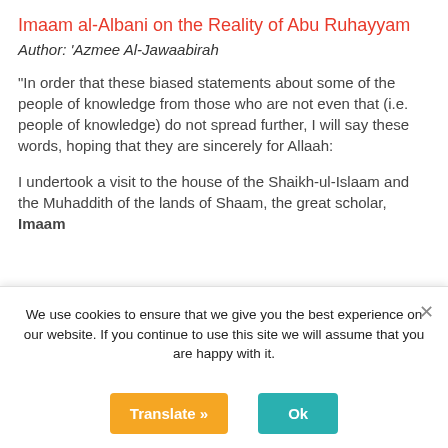Imaam al-Albani on the Reality of Abu Ruhayyam
Author: 'Azmee Al-Jawaabirah
“In order that these biased statements about some of the people of knowledge from those who are not even that (i.e. people of knowledge) do not spread further, I will say these words, hoping that they are sincerely for Allaah:
I undertook a visit to the house of the Shaikh-ul-Islaam and the Muhaddith of the lands of Shaam, the great scholar, Imaam
We use cookies to ensure that we give you the best experience on our website. If you continue to use this site we will assume that you are happy with it.
Translate »
Ok